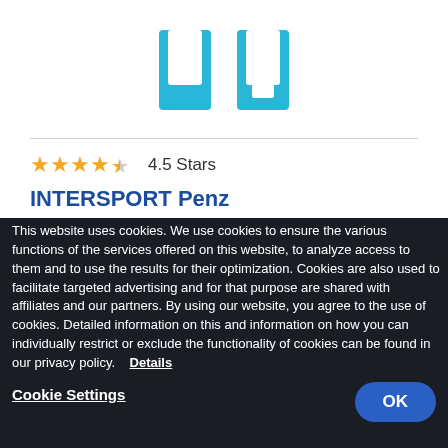[Figure (logo): Tile/brick pattern logo in light blue on white background]
4.5 Stars
INTERSPORT Penz
This website uses cookies. We use cookies to ensure the various functions of the services offered on this website, to analyze access to them and to use the results for their optimization. Cookies are also used to facilitate targeted advertising and for that purpose are shared with affiliates and our partners. By using our website, you agree to the use of cookies. Detailed information on this and information on how you can individually restrict or exclude the functionality of cookies can be found in our privacy policy. Details
Cookie Settings
OK